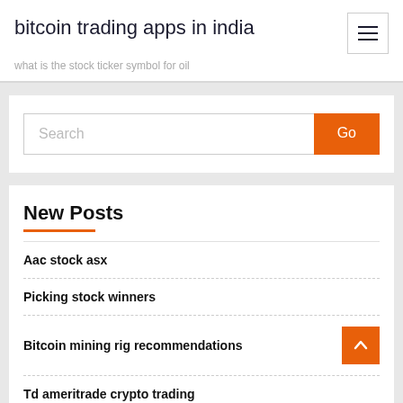bitcoin trading apps in india
what is the stock ticker symbol for oil
Search
New Posts
Aac stock asx
Picking stock winners
Bitcoin mining rig recommendations
Td ameritrade crypto trading